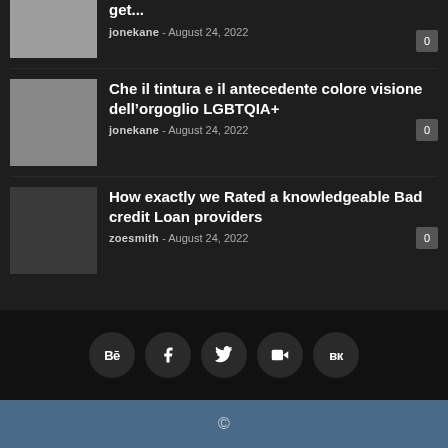get... jonekane - August 24, 2022  0
Che il tintura e il antecedente colore visione dell’orgoglio LGBTQIA+ jonekane - August 24, 2022  0
How exactly we Rated a knowledgeable Bad credit Loan providers zoesmith - August 24, 2022  0
[Figure (infographic): Social media icon links in circular buttons: Behance, Facebook, Twitter, Vimeo, VK]
©